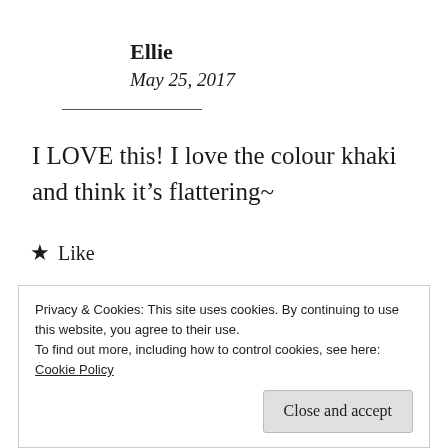Ellie
May 25, 2017
I LOVE this! I love the colour khaki and think it’s flattering~
★ Like
Privacy & Cookies: This site uses cookies. By continuing to use this website, you agree to their use.
To find out more, including how to control cookies, see here: Cookie Policy
Close and accept